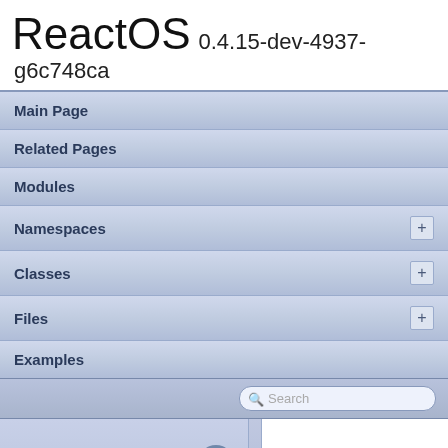ReactOS 0.4.15-dev-4937-g6c748ca
Main Page
Related Pages
Modules
Namespaces
Classes
Files
Examples
Search
DefragDialog.cpp
modules  rosapps  applications  fraginator  DefragDialog.cpp